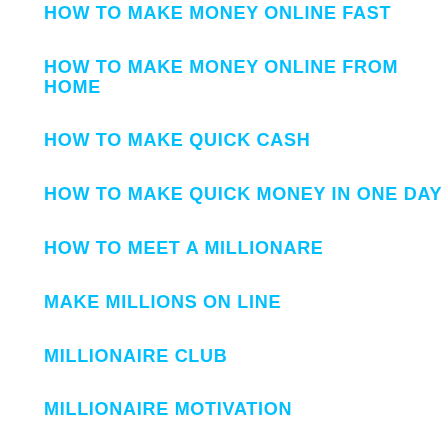HOW TO MAKE MONEY ONLINE FAST
HOW TO MAKE MONEY ONLINE FROM HOME
HOW TO MAKE QUICK CASH
HOW TO MAKE QUICK MONEY IN ONE DAY
HOW TO MEET A MILLIONARE
MAKE MILLIONS ON LINE
MILLIONAIRE CLUB
MILLIONAIRE MOTIVATION
MILLIONAIRE OPTIONS TRADER